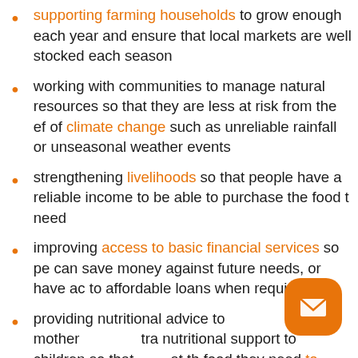supporting farming households to grow enough each year and ensure that local markets are well stocked each season
working with communities to manage natural resources so that they are less at risk from the effects of climate change such as unreliable rainfall or unseasonal weather events
strengthening livelihoods so that people have a reliable income to be able to purchase the food they need
improving access to basic financial services so people can save money against future needs, or have access to affordable loans when required
providing nutritional advice to mothers extra nutritional support to children so that they get the food they need to remain healthy and to thrive